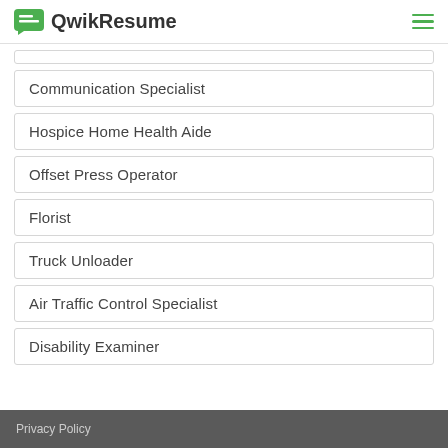QwikResume
Communication Specialist
Hospice Home Health Aide
Offset Press Operator
Florist
Truck Unloader
Air Traffic Control Specialist
Disability Examiner
Privacy Policy